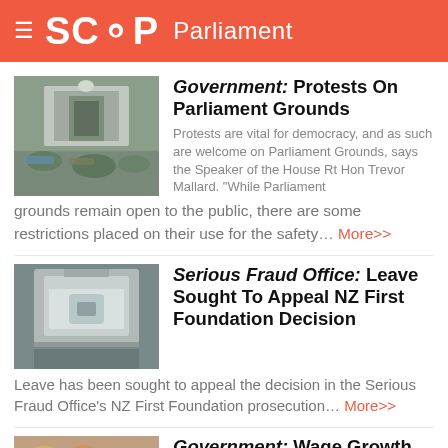SCOOP Parliament
Government: Protests On Parliament Grounds
Protests are vital for democracy, and as such are welcome on Parliament Grounds, says the Speaker of the House Rt Hon Trevor Mallard. "While Parliament grounds remain open to the public, there are some restrictions placed on their use for the safety… More>>
Serious Fraud Office: Leave Sought To Appeal NZ First Foundation Decision
Leave has been sought to appeal the decision in the Serious Fraud Office's NZ First Foundation prosecution… More>>
Government: Wage Growth Best